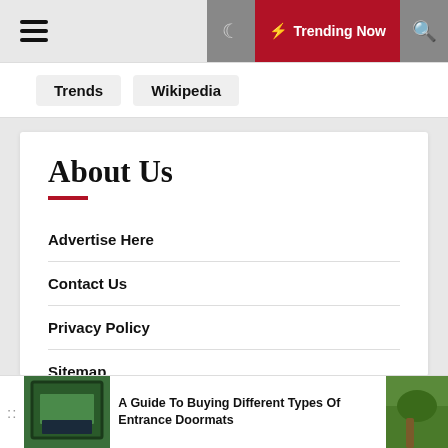Hamburger menu | Moon | Trending Now | Search
Trends | Wikipedia
About Us
Advertise Here
Contact Us
Privacy Policy
Sitemap
[Figure (photo): Entrance doormat product image showing a green mat in an outdoor setting]
A Guide To Buying Different Types Of Entrance Doormats
[Figure (photo): Garden path/landscape image on the right side of sticky bar]